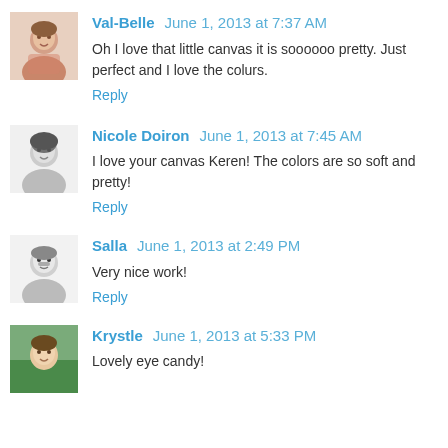Val-Belle  June 1, 2013 at 7:37 AM
Oh I love that little canvas it is soooooo pretty. Just perfect and I love the colurs.
Reply
Nicole Doiron  June 1, 2013 at 7:45 AM
I love your canvas Keren! The colors are so soft and pretty!
Reply
Salla  June 1, 2013 at 2:49 PM
Very nice work!
Reply
Krystle  June 1, 2013 at 5:33 PM
Lovely eye candy!